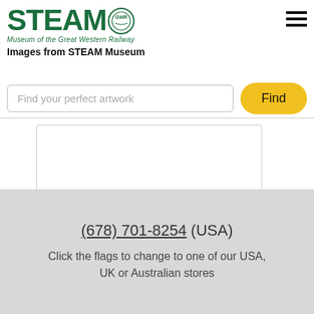STEAM GWR Museum of the Great Western Railway
Images from STEAM Museum
Find your perfect artwork
Find
[Figure (photo): White/blank image area for Brentford Docks artwork]
Brentford Docks, c1920
(678) 701-8254 (USA)
Click the flags to change to one of our USA, UK or Australian stores